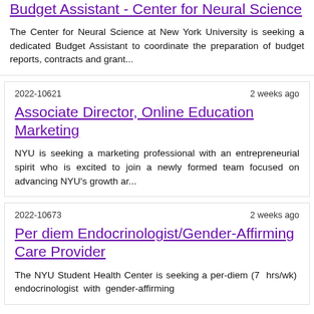Budget Assistant - Center for Neural Science
The Center for Neural Science at New York University is seeking a dedicated Budget Assistant to coordinate the preparation of budget reports, contracts and grant...
2022-10621   2 weeks ago
Associate Director, Online Education Marketing
NYU is seeking a marketing professional with an entrepreneurial spirit who is excited to join a newly formed team focused on advancing NYU's growth ar...
2022-10673   2 weeks ago
Per diem Endocrinologist/Gender-Affirming Care Provider
The NYU Student Health Center is seeking a per-diem (7 hrs/wk) endocrinologist with gender-affirming